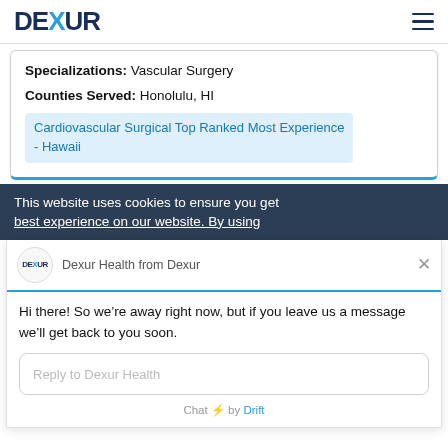DEXUR
Specializations: Vascular Surgery
Counties Served: Honolulu, HI
Cardiovascular Surgical Top Ranked Most Experience - Hawaii
This website uses cookies to ensure you get [best] experience on our website. By using
DEXUR
Dexur Health from Dexur
Hi there! So we’re away right now, but if you leave us a message we’ll get back to you soon.
Reply to Dexur Health
Chat ⚡ by Drift